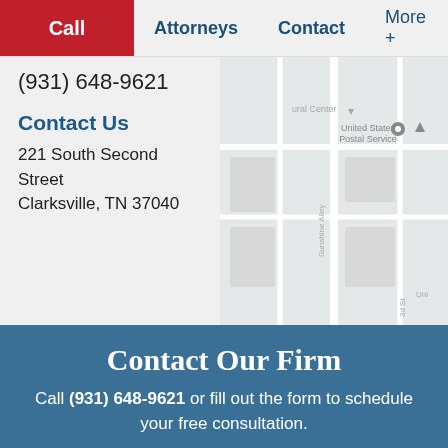Call | Attorneys | Contact | More +
(931) 648-9621
Contact Us
221 South Second Street
Clarksville, TN 37040
[Figure (map): Google Maps partial view showing United States Postal Service location near 221 South Second Street, Clarksville, TN]
Contact Our Firm
Call (931) 648-9621 or fill out the form to schedule your free consultation.
Name